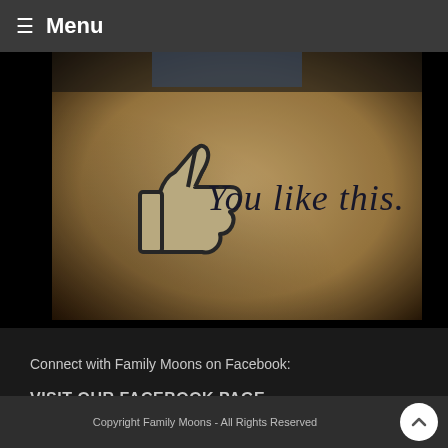☰ Menu
[Figure (photo): A Facebook 'You like this.' thumbs up like button graphic printed on a textured brown/tan wall surface]
Connect with Family Moons on Facebook:
VISIT OUR FACEBOOK PAGE
Copyright Family Moons - All Rights Reserved